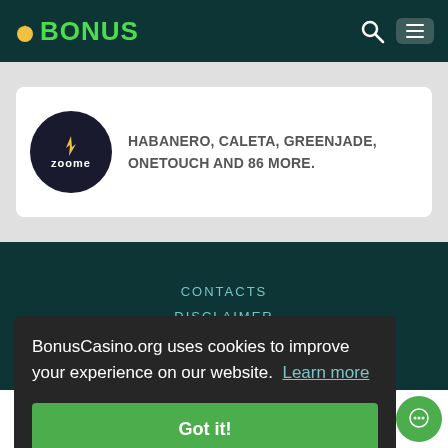BONUS
HABANERO, CALETA, GREENJADE, ONETOUCH AND 86 MORE.
CONTACTS
DISCLAIMER
PRIVACY POLICY
BonusCasino.org uses cookies to improve your experience on our website. Learn more
Got it!